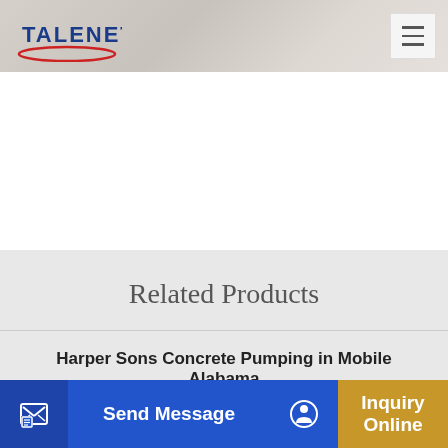[Figure (logo): Talenet company logo with swoosh and hamburger menu icon]
Related Products
Harper Sons Concrete Pumping in Mobile Alabama
large mixer for concrete batching plant
...r mix...
Send Message | Inquiry Online